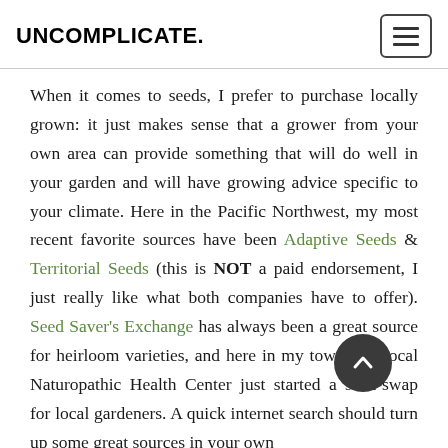UNCOMPLICATE.
When it comes to seeds, I prefer to purchase locally grown: it just makes sense that a grower from your own area can provide something that will do well in your garden and will have growing advice specific to your climate. Here in the Pacific Northwest, my most recent favorite sources have been Adaptive Seeds & Territorial Seeds (this is NOT a paid endorsement, I just really like what both companies have to offer). Seed Saver's Exchange has always been a great source for heirloom varieties, and here in my town, our local Naturopathic Health Center just started a seed-swap for local gardeners. A quick internet search should turn up some great sources in your own